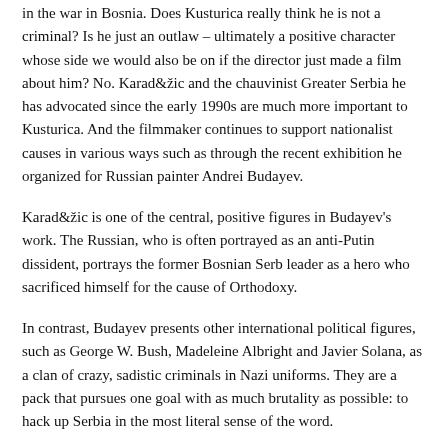in the war in Bosnia. Does Kusturica really think he is not a criminal? Is he just an outlaw – ultimately a positive character whose side we would also be on if the director just made a film about him? No. Karadžic and the chauvinist Greater Serbia he has advocated since the early 1990s are much more important to Kusturica. And the filmmaker continues to support nationalist causes in various ways such as through the recent exhibition he organized for Russian painter Andrei Budayev.
Karadžic is one of the central, positive figures in Budayev's work. The Russian, who is often portrayed as an anti-Putin dissident, portrays the former Bosnian Serb leader as a hero who sacrificed himself for the cause of Orthodoxy.
In contrast, Budayev presents other international political figures, such as George W. Bush, Madeleine Albright and Javier Solana, as a clan of crazy, sadistic criminals in Nazi uniforms. They are a pack that pursues one goal with as much brutality as possible: to hack up Serbia in the most literal sense of the word.
Kusturica sponsored the Budayev exhibition last August in the village of